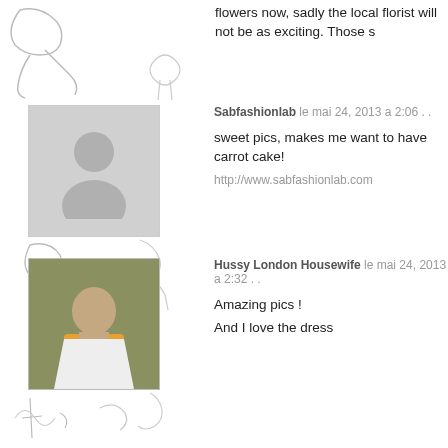flowers now, sadly the local florist will not be as exciting. Those s
Sabfashionlab le mai 24, 2013 a 2:06 . .
sweet pics, makes me want to have carrot cake!
http://www.sabfashionlab.com
Hussy London Housewife le mai 24, 2013 a 2:32 . .
Amazing pics !
And I love the dress
McKenzie le mai 24, 2013 a 3:02 . .
Oh wow, that looks like such a dream!
http://currentlylovingblog.blogspot.com/
Łucja le mai 24, 2013 a 3:04 . .
your photos always cheer me up ♥